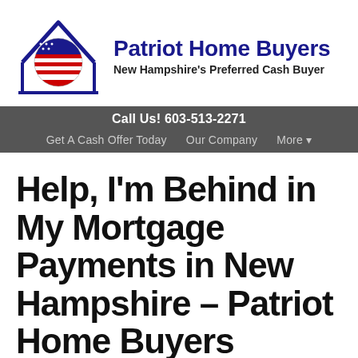[Figure (logo): Patriot Home Buyers logo with American flag circle inside a house outline in blue, with company name and tagline]
Call Us! 603-513-2271
Get A Cash Offer Today   Our Company   More ▸
Help, I'm Behind in My Mortgage Payments in New Hampshire – Patriot Home Buyers
June 10, 2020